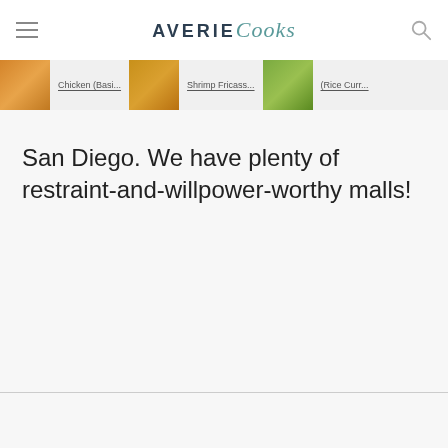AVERIE Cooks
[Figure (screenshot): Navigation strip with food thumbnails and category labels: Chicken (Basi...), Shrimp Fricass..., (Rice Curr...]
San Diego.  We have plenty of restraint-and-willpower-worthy malls!